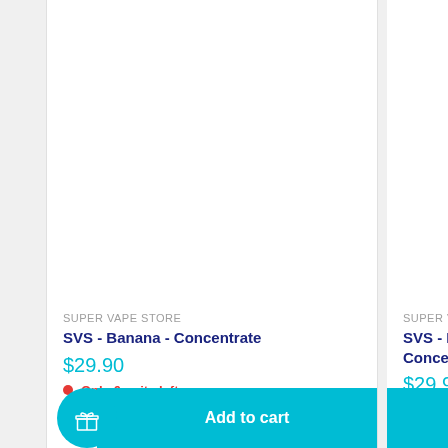SUPER VAPE STORE
SVS - Banana - Concentrate
$29.90
Only 6 units left
SUPER VAPE STORE
SVS - Raspberry Sw... Concentrate
$29.90
Only 17 units left